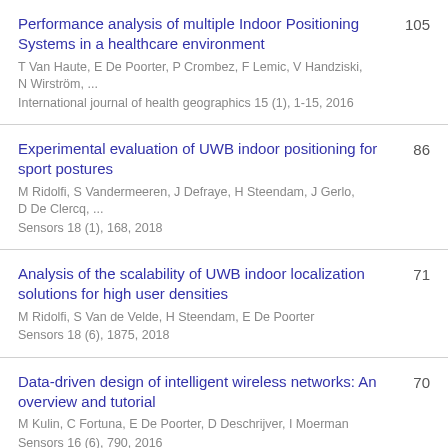Performance analysis of multiple Indoor Positioning Systems in a healthcare environment
T Van Haute, E De Poorter, P Crombez, F Lemic, V Handziski, N Wirström, ...
International journal of health geographics 15 (1), 1-15, 2016
105
Experimental evaluation of UWB indoor positioning for sport postures
M Ridolfi, S Vandermeeren, J Defraye, H Steendam, J Gerlo, D De Clercq, ...
Sensors 18 (1), 168, 2018
86
Analysis of the scalability of UWB indoor localization solutions for high user densities
M Ridolfi, S Van de Velde, H Steendam, E De Poorter
Sensors 18 (6), 1875, 2018
71
Data-driven design of intelligent wireless networks: An overview and tutorial
M Kulin, C Fortuna, E De Poorter, D Deschrijver, I Moerman
Sensors 16 (6), 790, 2016
70
Platform for benchmarking of RF-based indoor
68